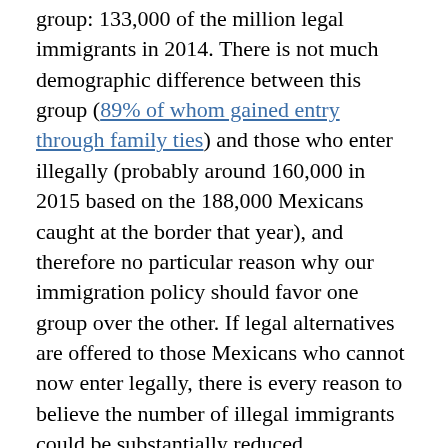group: 133,000 of the million legal immigrants in 2014. There is not much demographic difference between this group (89% of whom gained entry through family ties) and those who enter illegally (probably around 160,000 in 2015 based on the 188,000 Mexicans caught at the border that year), and therefore no particular reason why our immigration policy should favor one group over the other. If legal alternatives are offered to those Mexicans who cannot now enter legally, there is every reason to believe the number of illegal immigrants could be substantially reduced, particularly because the trend is in that direction.
Illegal immigration from Mexico, while still